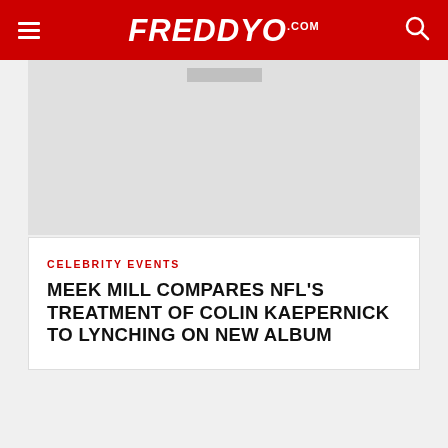FreddyO.com
[Figure (photo): Gray image placeholder area beneath the navigation header]
CELEBRITY EVENTS
MEEK MILL COMPARES NFL'S TREATMENT OF COLIN KAEPERNICK TO LYNCHING ON NEW ALBUM